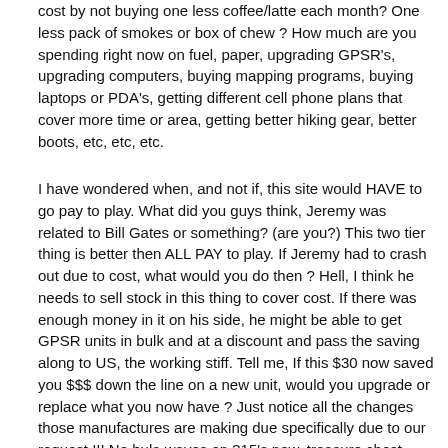cost by not buying one less coffee/latte each month? One less pack of smokes or box of chew ? How much are you spending right now on fuel, paper, upgrading GPSR's, upgrading computers, buying mapping programs, buying laptops or PDA's, getting different cell phone plans that cover more time or area, getting better hiking gear, better boots, etc, etc, etc.
I have wondered when, and not if, this site would HAVE to go pay to play. What did you guys think, Jeremy was related to Bill Gates or something? (are you?) This two tier thing is better then ALL PAY to play. If Jeremy had to crash out due to cost, what would you do then ? Hell, I think he needs to sell stock in this thing to cover cost. If there was enough money in it on his side, he might be able to get GPSR units in bulk and at a discount and pass the saving along to US, the working stiff. Tell me, If this $30 now saved you $$$ down the line on a new unit, would you upgrade or replace what you now have ? Just notice all the changes those manufactures are making due specifically due to our request !!! No hula waves on 315's now. treasure chest icons. Distance's in feet, not tenths of miles. Hell folks, we are a power those manufactures have to deal with and respond to, or we walk next door and get something that has what we